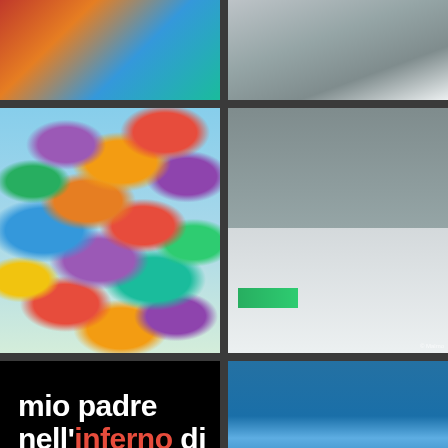[Figure (photo): Abstract colorful texture with red, orange, and blue tones — top left photo]
[Figure (photo): Close-up of light-colored fibrous or plant material — top right photo]
[Figure (photo): Colorful hanging umbrellas in a canopy of red, purple, orange, green, blue, yellow colors — middle left photo]
[Figure (photo): Two people walking on a street near a building, viewed from behind someone's shoulder — middle right photo]
[Figure (photo): Book cover: black background with white bold text 'mio padre nell inferno di cefalonia', with 'inferno' in red, and Italian subtitle text below — bottom left]
[Figure (photo): Abstract blue and yellow paint or texture, split horizontally — bottom right photo]
mio padre nell'inferno di cefalonia
La memoria di un superstite un massacro impunito i silenzi e le omertà di stato